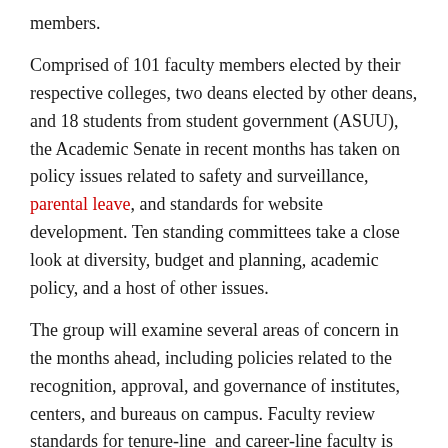members.
Comprised of 101 faculty members elected by their respective colleges, two deans elected by other deans, and 18 students from student government (ASUU), the Academic Senate in recent months has taken on policy issues related to safety and surveillance, parental leave, and standards for website development. Ten standing committees take a close look at diversity, budget and planning, academic policy, and a host of other issues.
The group will examine several areas of concern in the months ahead, including policies related to the recognition, approval, and governance of institutes, centers, and bureaus on campus. Faculty review standards for tenure-line and career-line faculty is also on the docket.
“One of the reasons I want to do this now is to meaningfully contribute to the university’s upward trajectory that has resulted from the vision and dynamic leadership of President Watkins. It’s exciting to be a part of the university as it grows its national and international stature,” said Dryer, of taking on his latest role.
Dryer follows a legacy of other College of Law faculty who have